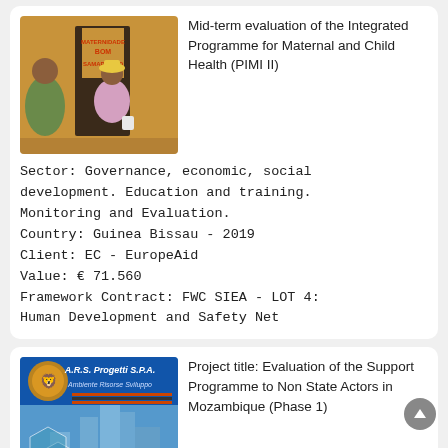[Figure (photo): Photo of a person outside a building with text 'MATERNIDADE BOM SAMARITANO' painted on wall]
Mid-term evaluation of the Integrated Programme for Maternal and Child Health (PIMI II)
Sector: Governance, economic, social development. Education and training. Monitoring and Evaluation.
Country: Guinea Bissau - 2019
Client: EC - EuropeAid
Value: € 71.560
Framework Contract: FWC SIEA - LOT 4: Human Development and Safety Net
[Figure (logo): A.R.S. Progetti S.P.A. logo with hexagonal city background image]
Project title: Evaluation of the Support Programme to Non State Actors in Mozambique (Phase 1)